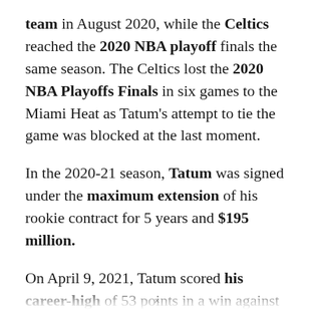team in August 2020, while the Celtics reached the 2020 NBA playoff finals the same season. The Celtics lost the 2020 NBA Playoffs Finals in six games to the Miami Heat as Tatum's attempt to tie the game was blocked at the last moment.
In the 2020-21 season, Tatum was signed under the maximum extension of his rookie contract for 5 years and $195 million.
On April 9, 2021, Tatum scored his career-high of 53 points in a win against the [clipped]